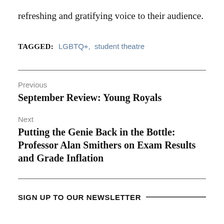refreshing and gratifying voice to their audience.
TAGGED:   LGBTQ+, student theatre
Previous
September Review: Young Royals
Next
Putting the Genie Back in the Bottle: Professor Alan Smithers on Exam Results and Grade Inflation
SIGN UP TO OUR NEWSLETTER